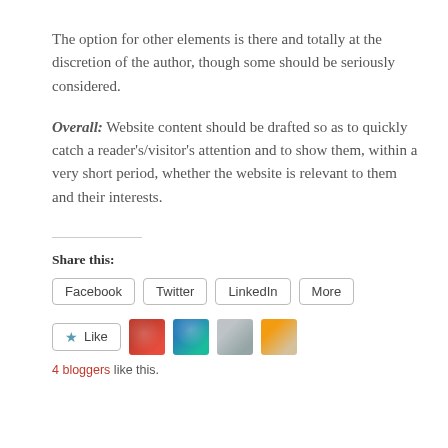The option for other elements is there and totally at the discretion of the author, though some should be seriously considered.
Overall: Website content should be drafted so as to quickly catch a reader's/visitor's attention and to show them, within a very short period, whether the website is relevant to them and their interests.
Share this:
Facebook  Twitter  LinkedIn  More
[Figure (other): Like button with star icon and four blogger avatar thumbnails, with '4 bloggers like this.' text below.]